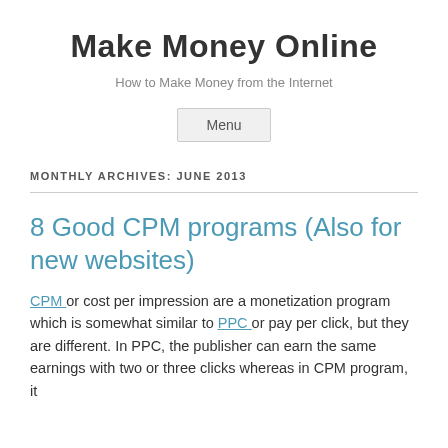Make Money Online
How to Make Money from the Internet
Menu
MONTHLY ARCHIVES: JUNE 2013
8 Good CPM programs (Also for new websites)
CPM or cost per impression are a monetization program which is somewhat similar to PPC or pay per click, but they are different. In PPC, the publisher can earn the same earnings with two or three clicks whereas in CPM program, it